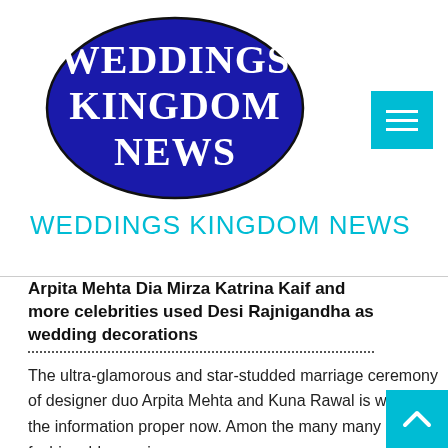[Figure (logo): Weddings Kingdom News logo — dark blue oval with white serif text reading WEDDINGS KINGDOM NEWS]
WEDDINGS KINGDOM NEWS
Arpita Mehta Dia Mirza Katrina Kaif and more celebrities used Desi Rajnigandha as wedding decorations
The ultra-glamorous and star-studded marriage ceremony of designer duo Arpita Mehta and Kuna Rawal is within the information proper now. Amon the many many fashionable marriage ceremony